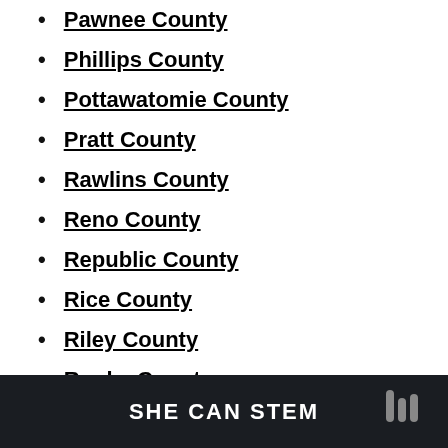Pawnee County
Phillips County
Pottawatomie County
Pratt County
Rawlins County
Reno County
Republic County
Rice County
Riley County
Rooks County
Rush County
Russell County
SHE CAN STEM